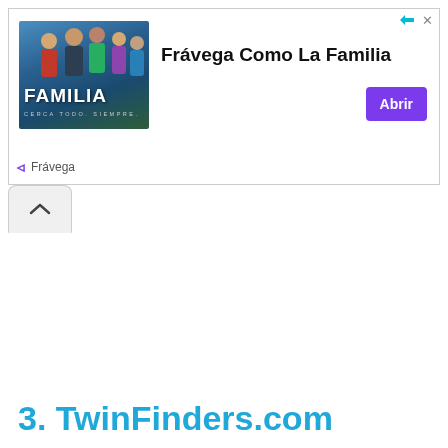[Figure (screenshot): Advertisement banner for Frávega showing 'FAMILIA' branding with group photo, headline 'Frávega Como La Familia', purple 'Abrir' button, and Frávega logo/name]
3. TwinFinders.com